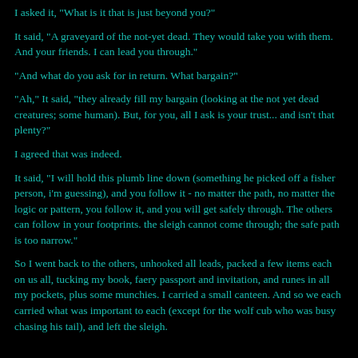I asked it, "What is it that is just beyond you?"
It said, "A graveyard of the not-yet dead. They would take you with them. And your friends. I can lead you through."
"And what do you ask for in return. What bargain?"
"Ah," It said, "they already fill my bargain (looking at the not yet dead creatures; some human). But, for you, all I ask is your trust... and isn't that plenty?"
I agreed that was indeed.
It said, "I will hold this plumb line down (something he picked off a fisher person, i'm guessing), and you follow it - no matter the path, no matter the logic or pattern, you follow it, and you will get safely through. The others can follow in your footprints. the sleigh cannot come through; the safe path is too narrow."
So I went back to the others, unhooked all leads, packed a few items each on us all, tucking my book, faery passport and invitation, and runes in all my pockets, plus some munchies. I carried a small canteen. And so we each carried what was important to each (except for the wolf cub who was busy chasing his tail), and left the sleigh.